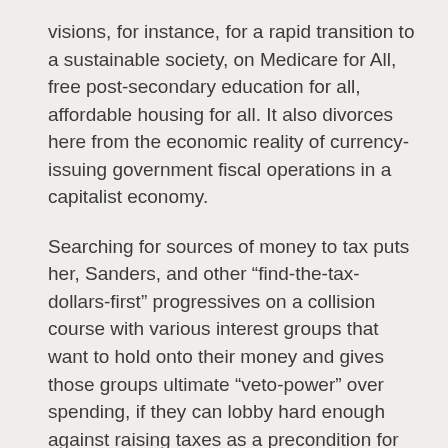visions, for instance, for a rapid transition to a sustainable society, on Medicare for All, free post-secondary education for all, affordable housing for all.  It also divorces here from the economic reality of currency-issuing government fiscal operations in a capitalist economy.
Searching for sources of money to tax puts her, Sanders, and other “find-the-tax-dollars-first” progressives on a collision course with various interest groups that want to hold onto their money and gives those groups ultimate “veto-power” over spending, if they can lobby hard enough against raising taxes as a precondition for social or ecological spending.  Taxation in general and higher levels of taxation are required to realize ambitious social visions and contain inflation but the “pay for” spending-to-match-taxation paradigm will put immediate brakes on